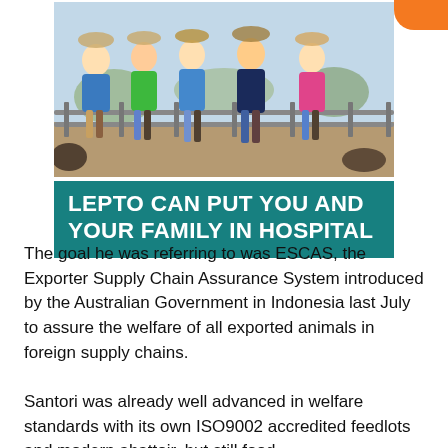[Figure (photo): Five children wearing akubra/cowboy hats leaning on a cattle yard fence railing, dressed in blue, green, and pink shirts. Below the photo is a teal banner with white bold text reading: LEPTO CAN PUT YOU AND YOUR FAMILY IN HOSPITAL. An orange logo is visible in the top right corner.]
The goal he was referring to was ESCAS, the Exporter Supply Chain Assurance System introduced by the Australian Government in Indonesia last July to assure the welfare of all exported animals in foreign supply chains.
Santori was already well advanced in welfare standards with its own ISO9002 accredited feedlots and modern abattoir, but still food